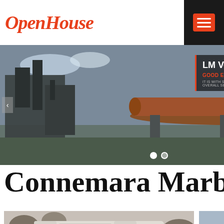[Figure (screenshot): OpenHouse logo with red italic script text on white background, with dark hamburger menu button on right]
[Figure (photo): Industrial mining/milling facility with large rotary drum/kiln machinery, banner overlay reading 'LM Vertical Mill - GOOD ENVIRONMENTAL EFFECT - IT IS WITH SMALL VIBRATION, LOW NOISE AND THE OVERALL SEALING']
Connemara Marble C
[Figure (photo): Jaw crusher machine, white/cream colored industrial crusher with ribbed body and red label strip]
[Figure (photo): Open pit mining or quarry site with conveyor belt and hillside, aerial view]
[Figure (photo): Customer service representative smiling, wearing headset. 24Hrs Online banner in red. Need questions & suggestion chat box with Chat Now button. Enquiry link. mumumugoods link.]